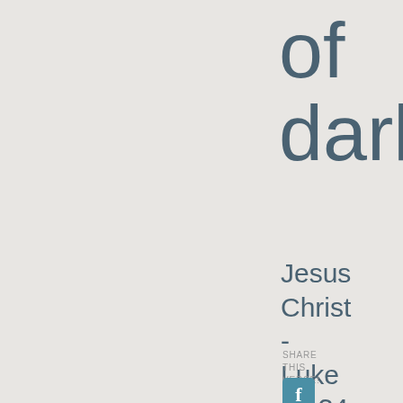of darkness
Jesus Christ - Luke 11:34
SHARE THIS VERSE!
[Figure (other): Facebook social share icon button (blue rounded square with white 'f' logo)]
[Figure (other): Twitter social share icon button (blue rounded square with white bird logo)]